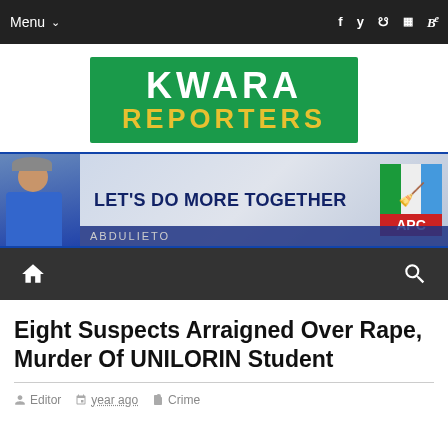Menu  f  y  [web]  [instagram]  Be
[Figure (logo): Kwara Reporters logo — green background, white KWARA text, yellow REPORTERS text]
[Figure (infographic): APC political party banner ad — man in blue traditional outfit, text LET'S DO MORE TOGETHER, APC logo on right]
Home icon | Search icon
Eight Suspects Arraigned Over Rape, Murder Of UNILORIN Student
Editor  year ago  Crime